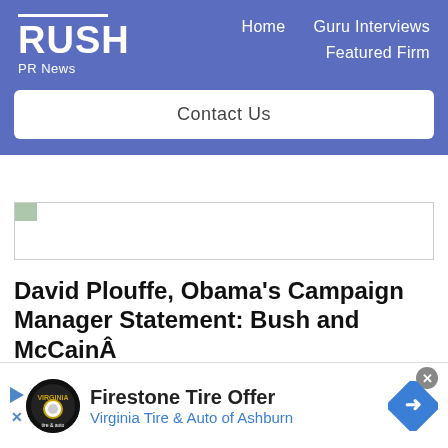RUSH PR News — Home | Guru Interviews | Featured Firm | Contact Us
[Figure (other): Small image thumbnail placeholder with green corner indicator]
David Plouffe, Obama's Campaign Manager Statement: Bush and McCainÂ
by Sam Graham-Felsen
WASHINGTON, (rushprnews)
[Figure (other): Firestone Tire Offer advertisement banner — Virginia Tire & Auto of Ashburn]